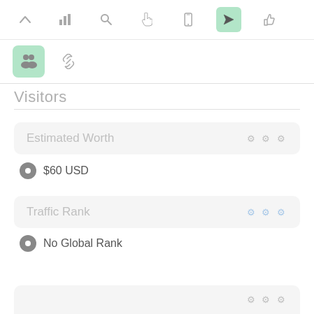[Figure (screenshot): Toolbar with icons: up arrow, bar chart, search, hand/cursor, mobile, navigation arrow (active/highlighted green), thumbs up]
[Figure (screenshot): Second toolbar row with people/group icon (active/highlighted green) and link/chain icon]
Visitors
Estimated Worth
$60 USD
Traffic Rank
No Global Rank